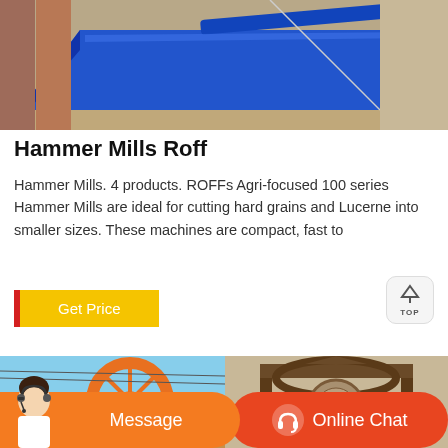[Figure (photo): Blue metal industrial equipment (hammer mill or conveyor) on a concrete surface outdoors]
Hammer Mills Roff
Hammer Mills. 4 products. ROFFs Agri-focused 100 series Hammer Mills are ideal for cutting hard grains and Lucerne into smaller sizes. These machines are compact, fast to
[Figure (other): Get Price button with red left border and yellow background]
[Figure (photo): Two product photos side by side: left shows orange wheel/equipment against blue sky, right shows ornate wooden mill structure]
[Figure (other): Footer bar with Message and Online Chat buttons, customer support person in bottom left corner]